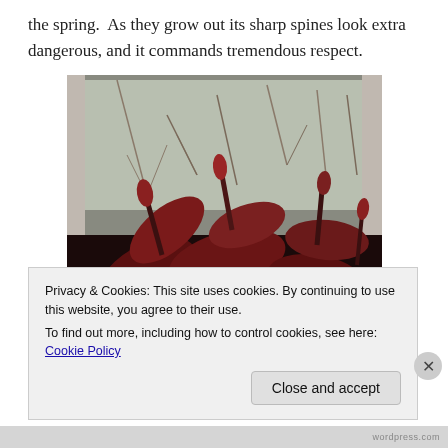the spring.  As they grow out its sharp spines look extra dangerous, and it commands tremendous respect.
[Figure (photo): Photo of dark red-leafed plants with new shoots growing on a windowsill, with bare trees visible through the window in the background.]
Privacy & Cookies: This site uses cookies. By continuing to use this website, you agree to their use.
To find out more, including how to control cookies, see here: Cookie Policy
Close and accept